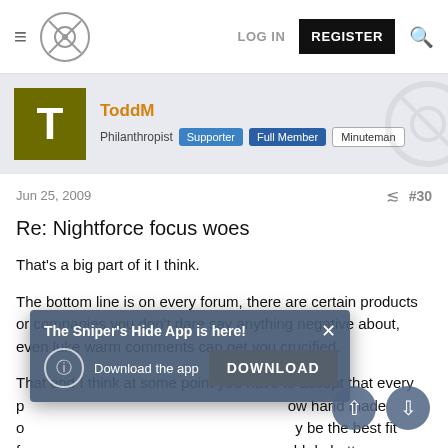≡ [Logo] LOG IN REGISTER [Search]
ToddM
Philanthropist Supporter Full Member Minuteman
Jun 25, 2009  #30
Re: Nightforce focus woes
That's a big part of it I think.
The bottom line is on every forum, there are certain products or companies you don't dare say anything negative about, even luke warm comments can get you crucified.
That and I think at some point you have to accept that every p[...] ow hand made o[...] y be the best fit f[...] ould do bette f[...]
[Figure (other): App download popup: 'The Sniper's Hide App is here!' with DOWNLOAD button and close X]